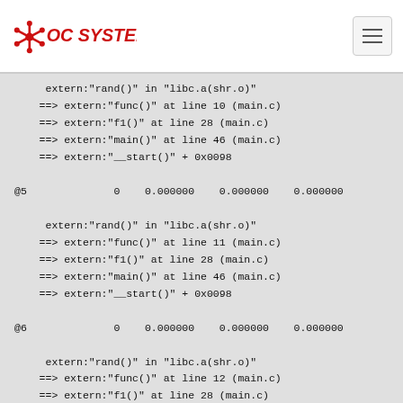OC SYSTEMS
extern:"rand()" in "libc.a(shr.o)"
    ==> extern:"func()" at line 10 (main.c)
    ==> extern:"f1()" at line 28 (main.c)
    ==> extern:"main()" at line 46 (main.c)
    ==> extern:"__start()" + 0x0098

@5              0    0.000000    0.000000    0.000000

     extern:"rand()" in "libc.a(shr.o)"
    ==> extern:"func()" at line 11 (main.c)
    ==> extern:"f1()" at line 28 (main.c)
    ==> extern:"main()" at line 46 (main.c)
    ==> extern:"__start()" + 0x0098

@6              0    0.000000    0.000000    0.000000

     extern:"rand()" in "libc.a(shr.o)"
    ==> extern:"func()" at line 12 (main.c)
    ==> extern:"f1()" at line 28 (main.c)
    ==> extern:"main()" at line 46 (main.c)
    ==> extern:"__start()" + 0x0098